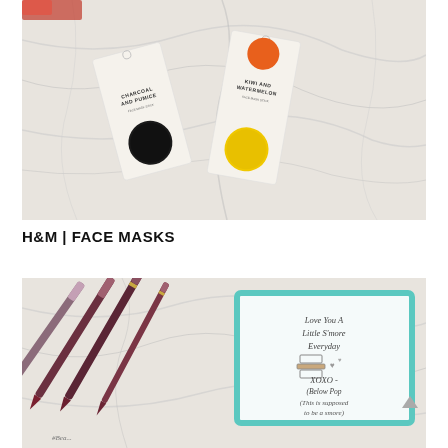[Figure (photo): Overhead flat-lay photo on white marble surface showing two skincare face mask product cards. Left card reads 'CHARCOAL AND PUMICE' with a dark circular product. Right card reads 'KIWI AND WATERMELON' with a yellow circular product and an orange product visible at top. H&M beauty products.]
H&M | FACE MASKS
[Figure (photo): Flat-lay photo showing several lip liner/lipstick pencils in mauve and dark red tones on white marble, alongside a teal-bordered card with handwritten text reading 'Love you a little s'more everyday XOXO - (below Pop) (This is supposed to be a smore)' with a drawing of a s'more. Hashtag text visible at bottom.]